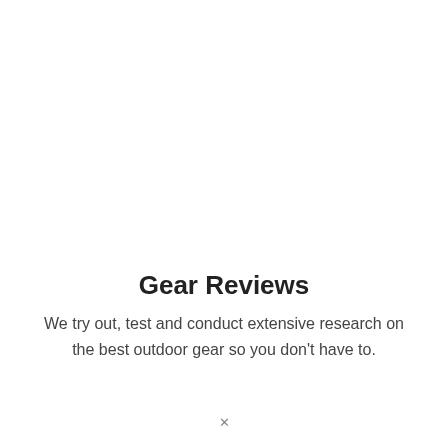Gear Reviews
We try out, test and conduct extensive research on the best outdoor gear so you don't have to.